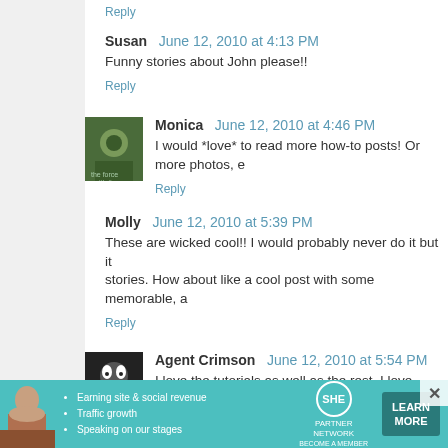Reply
Susan  June 12, 2010 at 4:13 PM
Funny stories about John please!!
Reply
Monica  June 12, 2010 at 4:46 PM
I would *love* to read more how-to posts! Or more photos, e
Reply
Molly  June 12, 2010 at 5:39 PM
These are wicked cool!! I would probably never do it but it stories. How about like a cool post with some memorable, a
Reply
Agent Crimson  June 12, 2010 at 5:54 PM
I love the tutorials as well as the rest. I love learning
[Figure (infographic): SHE Partner Network advertisement banner with teal background, photo of woman, bullet points about earning site & social revenue, traffic growth, speaking on our stages, SHE logo, and LEARN MORE button]